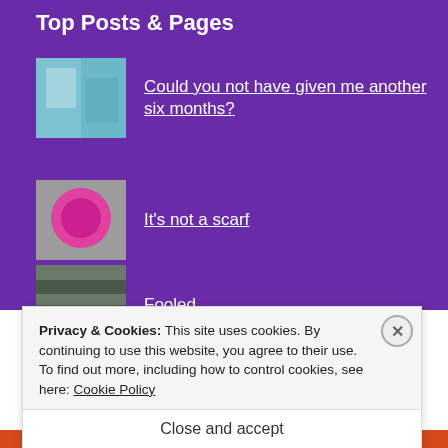Top Posts & Pages
Could you not have given me another six months?
It's not a scarf
Fooled
Knitting, Sailing and the Olympics
Once I get started
Privacy & Cookies: This site uses cookies. By continuing to use this website, you agree to their use.
To find out more, including how to control cookies, see here: Cookie Policy
Close and accept